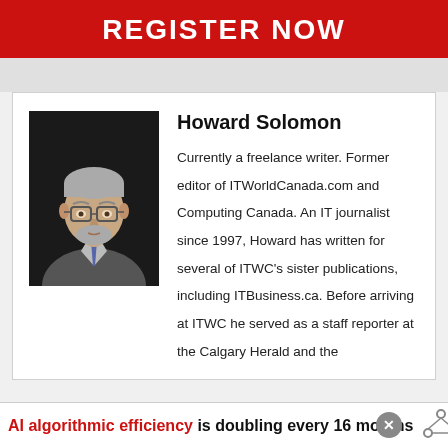REGISTER NOW
[Figure (photo): Headshot of Howard Solomon, an elderly man with gray hair and beard, wearing glasses, a gray shirt and tie, against a dark background]
Howard Solomon
Currently a freelance writer. Former editor of ITWorldCanada.com and Computing Canada. An IT journalist since 1997, Howard has written for several of ITWC's sister publications, including ITBusiness.ca. Before arriving at ITWC he served as a staff reporter at the Calgary Herald and the
AI algorithmic efficiency is doubling every 16 months